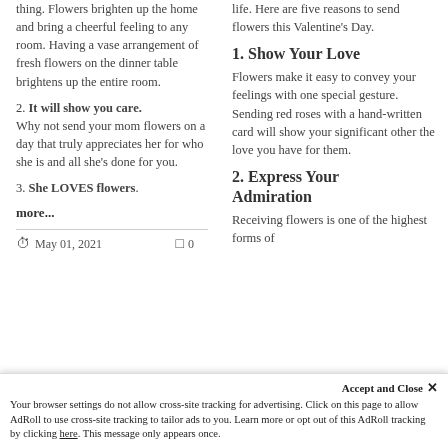thing. Flowers brighten up the home and bring a cheerful feeling to any room. Having a vase arrangement of fresh flowers on the dinner table brightens up the entire room.
2. It will show you care. Why not send your mom flowers on a day that truly appreciates her for who she is and all she's done for you.
3. She LOVES flowers.
more...
May 01, 2021   0
life. Here are five reasons to send flowers this Valentine's Day.
1. Show Your Love
Flowers make it easy to convey your feelings with one special gesture. Sending red roses with a hand-written card will show your significant other the love you have for them.
2. Express Your Admiration
Receiving flowers is one of the highest forms of
Accept and Close ×
Your browser settings do not allow cross-site tracking for advertising. Click on this page to allow AdRoll to use cross-site tracking to tailor ads to you. Learn more or opt out of this AdRoll tracking by clicking here. This message only appears once.